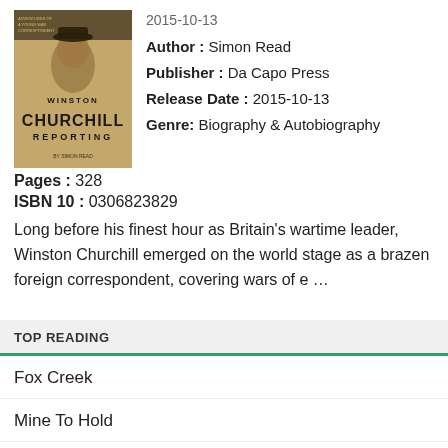[Figure (illustration): Book cover of 'Winston Churchill Reporting' by Simon Read, with a sepia-toned photograph of a young Winston Churchill on the cover]
2015-10-13
Author : Simon Read
Publisher : Da Capo Press
Release Date : 2015-10-13
Genre: Biography & Autobiography
Pages : 328
ISBN 10 : 0306823829
Long before his finest hour as Britain's wartime leader, Winston Churchill emerged on the world stage as a brazen foreign correspondent, covering wars of e …
TOP READING
Fox Creek
Mine To Hold
Sunday at the Sunflower Inn